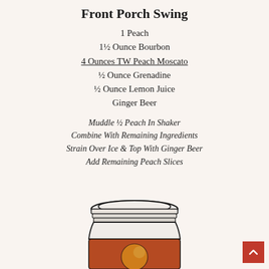Front Porch Swing
1 Peach
1½ Ounce Bourbon
4 Ounces TW Peach Moscato
½ Ounce Grenadine
½ Ounce Lemon Juice
Ginger Beer
Muddle ½ Peach In Shaker
Combine With Remaining Ingredients
Strain Over Ice & Top With Ginger Beer
Add Remaining Peach Slices
[Figure (illustration): Illustration of a mason jar with a peach cocktail inside, showing the jar lid/top and amber-colored drink with a peach slice]